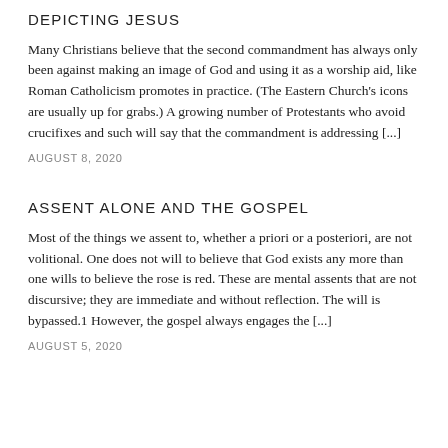DEPICTING JESUS
Many Christians believe that the second commandment has always only been against making an image of God and using it as a worship aid, like Roman Catholicism promotes in practice. (The Eastern Church's icons are usually up for grabs.) A growing number of Protestants who avoid crucifixes and such will say that the commandment is addressing [...]
AUGUST 8, 2020
ASSENT ALONE AND THE GOSPEL
Most of the things we assent to, whether a priori or a posteriori, are not volitional. One does not will to believe that God exists any more than one wills to believe the rose is red. These are mental assents that are not discursive; they are immediate and without reflection. The will is bypassed.1 However, the gospel always engages the [...]
AUGUST 5, 2020